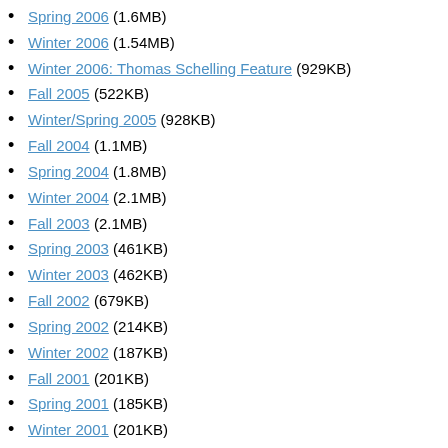Spring 2006 (1.6MB)
Winter 2006 (1.54MB)
Winter 2006: Thomas Schelling Feature (929KB)
Fall 2005 (522KB)
Winter/Spring 2005 (928KB)
Fall 2004 (1.1MB)
Spring 2004 (1.8MB)
Winter 2004 (2.1MB)
Fall 2003 (2.1MB)
Spring 2003 (461KB)
Winter 2003 (462KB)
Fall 2002 (679KB)
Spring 2002 (214KB)
Winter 2002 (187KB)
Fall 2001 (201KB)
Spring 2001 (185KB)
Winter 2001 (201KB)
Fall 2000 (157KB)
Spring 2000 (250KB)